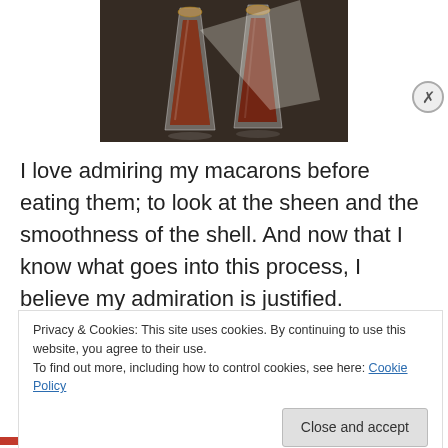[Figure (photo): Two chocolate macarons wrapped in clear plastic bags, placed on a dark surface]
I love admiring my macarons before eating them; to look at the sheen and the smoothness of the shell. And now that I know what goes into this process, I believe my admiration is justified. Cracking is one of the biggest problems many bakers face while making macarons, and
Privacy & Cookies: This site uses cookies. By continuing to use this website, you agree to their use.
To find out more, including how to control cookies, see here: Cookie Policy
Close and accept